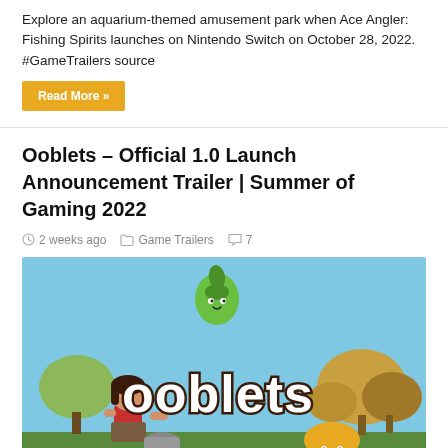Explore an aquarium-themed amusement park when Ace Angler: Fishing Spirits launches on Nintendo Switch on October 28, 2022. #GameTrailers source
Read More »
Ooblets – Official 1.0 Launch Announcement Trailer | Summer of Gaming 2022
2 weeks ago   Game Trailers   7
[Figure (screenshot): Ooblets official trailer thumbnail showing a cartoon girl with a green creature floating above, large 'Ooblets' logo text, and 'OFFICIAL TRAILER' text at the bottom left. Colorful illustrated forest background.]